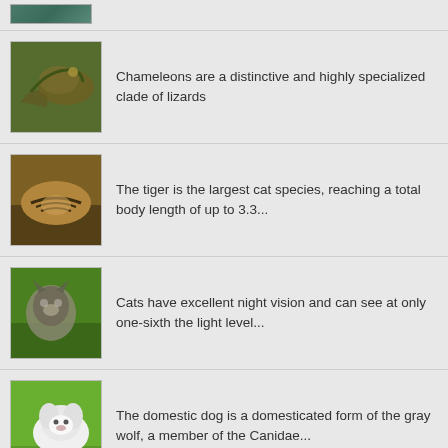[Figure (photo): Partial image at top of list - partial nature/animal photo]
Chameleons are a distinctive and highly specialized clade of lizards
The tiger is the largest cat species, reaching a total body length of up to 3.3...
Cats have excellent night vision and can see at only one-sixth the light level...
The domestic dog is a domesticated form of the gray wolf, a member of the Canidae...
Croatia, officially the Republic of Croatia, is a unitary democratic...